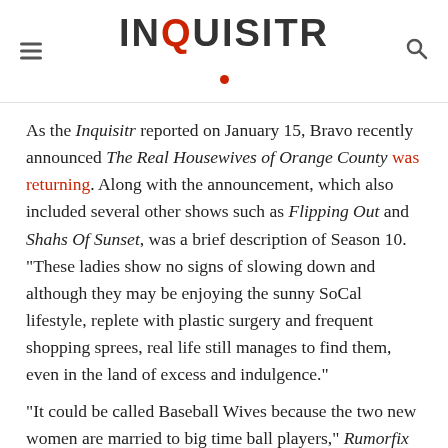INQUISITR
As the Inquisitr reported on January 15, Bravo recently announced The Real Housewives of Orange County was returning. Along with the announcement, which also included several other shows such as Flipping Out and Shahs Of Sunset, was a brief description of Season 10. "These ladies show no signs of slowing down and although they may be enjoying the sunny SoCal lifestyle, replete with plastic surgery and frequent shopping sprees, real life still manages to find them, even in the land of excess and indulgence."
"It could be called Baseball Wives because the two new women are married to big time ball players," Rumorfix revealed on